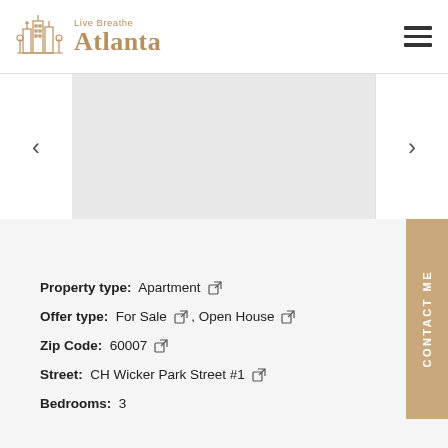Live Breathe Atlanta
[Figure (photo): Property image carousel/slider with left and right navigation arrows, image area is blank/gray]
Property type: Apartment
Offer type: For Sale , Open House
Zip Code: 60007
Street: CH Wicker Park Street #1
Bedrooms: 3